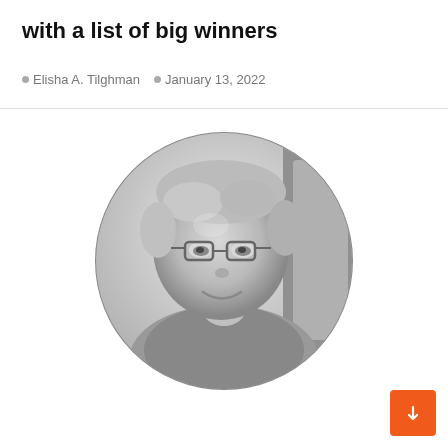with a list of big winners
Elisha A. Tilghman  |  January 13, 2022
[Figure (photo): Circular black-and-white portrait photo of a middle-aged person with short light hair and glasses, smiling slightly, photographed from inside a vehicle.]